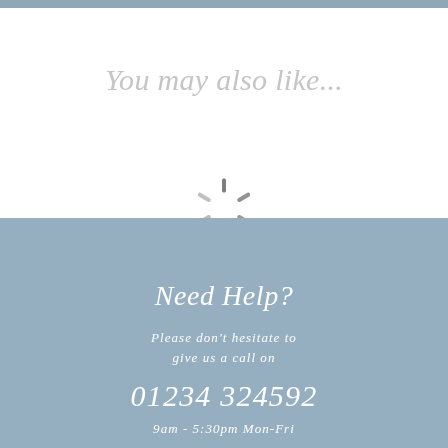You may also like...
[Figure (other): Loading spinner icon (dark grey radial lines forming a circular spinner)]
Need Help?
Please don't hesitate to give us a call on
01234 324592
9am - 5:30pm Mon-Fri
Best Selling Tiles